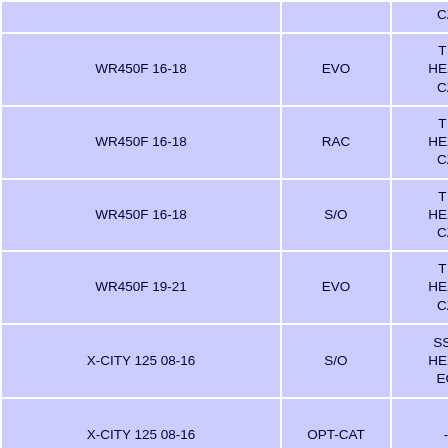| Model | Type | Fitting |  | Part No. | Price |
| --- | --- | --- | --- | --- | --- |
| WR450F 16-18 | EVO | T / HEX / CZ |  | S-Y4MET13-CIBNTA | 1760 |
| WR450F 16-18 | RAC | T / HEX / CZ |  | S-Y4MR14-CIBNTA | 1485 |
| WR450F 16-18 | S/O | T / HEX / CZ |  | S-Y4SO14-CIBNTA | 924 |
| WR450F 19-21 | EVO | T / HEX / CZ |  | S-Y4MET14-CIBNTA | 1859 |
| X-CITY 125 08-16 | S/O | SS / HEX / EC |  | S-Y125SO3-HRSS | 825 |
| X-CITY 125 08-16 | OPT-CAT | - |  | 📷PHOTO📷 | 264 |
| X-CITY 250 07-16 | S/O | SS / HEX / EC |  | S-Y2SO7-HRSS | 836 |